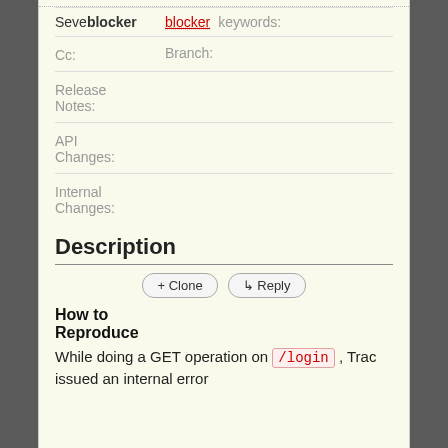| Field | Value |
| --- | --- |
| Severity | blocker   Keywords: |
| Cc: | Branch: |
| Release Notes: |  |
| API Changes: |  |
| Internal Changes: |  |
Description
+ Clone   ↳ Reply
How to Reproduce
While doing a GET operation on /login , Trac issued an internal error